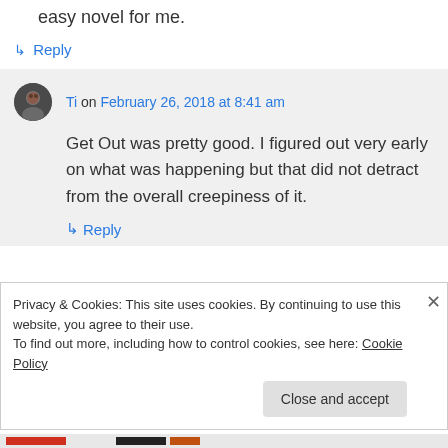easy novel for me.
↳ Reply
Ti on February 26, 2018 at 8:41 am
Get Out was pretty good. I figured out very early on what was happening but that did not detract from the overall creepiness of it.
↳ Reply
Privacy & Cookies: This site uses cookies. By continuing to use this website, you agree to their use.
To find out more, including how to control cookies, see here: Cookie Policy